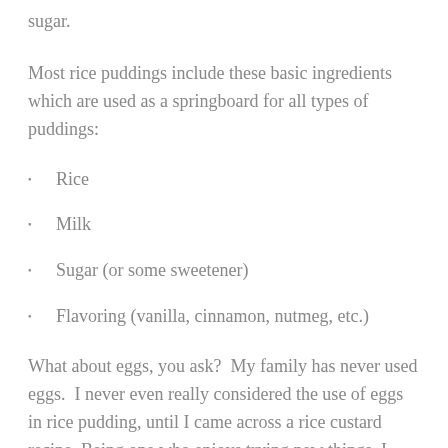sugar.
Most rice puddings include these basic ingredients which are used as a springboard for all types of puddings:
Rice
Milk
Sugar (or some sweetener)
Flavoring (vanilla, cinnamon, nutmeg, etc.)
What about eggs, you ask?  My family has never used eggs.  I never even really considered the use of eggs in rice pudding, until I came across a rice custard recipe. Being one who enjoys trying new things, I decided to